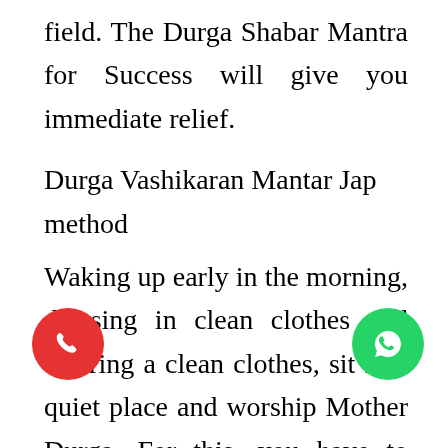field. The Durga Shabar Mantra for Success will give you immediate relief.
Durga Vashikaran Mantar Jap method
Waking up early in the morning, dressing in clean clothes and wearing a clean clothes, sit in a quiet place and worship Mother Durga. For this, you have to take a sandal of sandal and chant it with mohini mantra Hindi mein.
Make sure to call me before starting, as